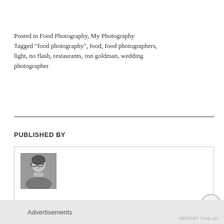Posted in Food Photography, My Photography
Tagged "food photography", food, food photographers, light, no flash, restaurants, ron goldman, wedding photographer
PUBLISHED BY
[Figure (photo): Black and white portrait photo of an author wearing glasses, chin resting on hand, with necklace visible]
Advertisements